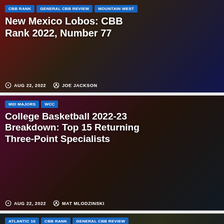[Figure (photo): Basketball game action photo with players, New Mexico Lobos article card]
CBB RANK | GENERAL CBB REVIEW | MOUNTAIN WEST
New Mexico Lobos: CBB Rank 2022, Number 77
AUG 22, 2022  JOE JACKSON
[Figure (photo): Basketball player in white Houston jersey number 11, article card]
MID MAJORS | WCC
College Basketball 2022-23 Breakdown: Top 15 Returning Three-Point Specialists
AUG 22, 2022  MAT MLODZINSKI
[Figure (photo): Basketball game photo, third article card partially visible]
ATLANTIC 10 | CBB RANK | GENERAL CBB REVIEW | MID MAJORS